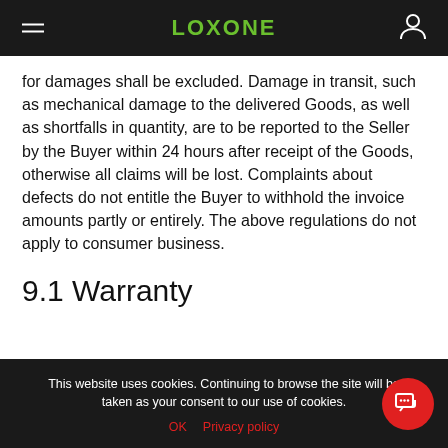LOXONE
for damages shall be excluded. Damage in transit, such as mechanical damage to the delivered Goods, as well as shortfalls in quantity, are to be reported to the Seller by the Buyer within 24 hours after receipt of the Goods, otherwise all claims will be lost. Complaints about defects do not entitle the Buyer to withhold the invoice amounts partly or entirely. The above regulations do not apply to consumer business.
9.1 Warranty
This website uses cookies. Continuing to browse the site will be taken as your consent to our use of cookies. OK  Privacy policy